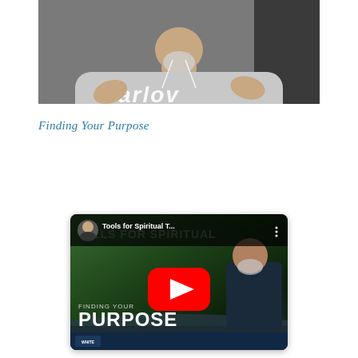[Figure (photo): Photo of a man wearing a grey hoodie with hands raised, close-up selfie style shot with dark background]
Finding Your Purpose
[Figure (screenshot): YouTube video thumbnail embed showing 'Tools for Spiritual T...' video about Finding Your Purpose, with a red YouTube play button in the center, a man in foreground right, and outdoor background with PURPOSE text overlay]